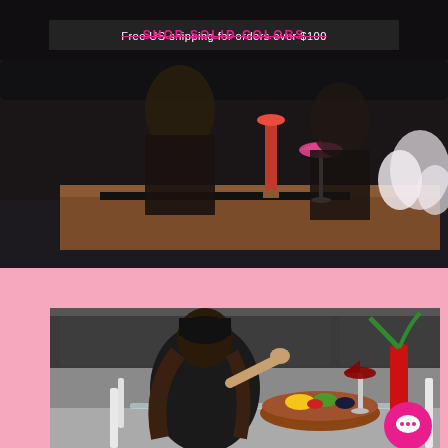SHOP SOLID COLORS
Free US shipping for orders over $100
[Figure (photo): Top photo: two people sitting on a black sofa with a cocktail glass and red drink on a table in front, with white flowers on the right side]
[Figure (photo): Bottom photo: a woman in a black satin robe and black head wrap sitting at a glass dining table eating fruit from a wooden bowl, with a red cocktail glass and red hand-shaped vase on the table, in a modern kitchen setting. A pink chat bubble icon is visible in the lower right.]